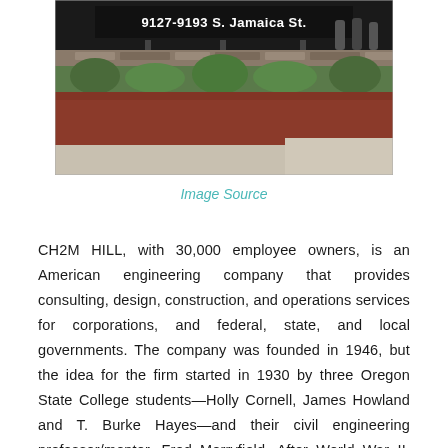[Figure (photo): Photograph of a building sign reading '9127-9193 S. Jamaica St.' with people standing near a stone wall, landscaping with red mulch and green plants, and a sidewalk in the foreground.]
Image Source
CH2M HILL, with 30,000 employee owners, is an American engineering company that provides consulting, design, construction, and operations services for corporations, and federal, state, and local governments. The company was founded in 1946, but the idea for the firm started in 1930 by three Oregon State College students—Holly Cornell, James Howland and T. Burke Hayes—and their civil engineering professor/mentor, Fred Merryfield. After World War II, they recognized a need for qualified experienced engineers, and